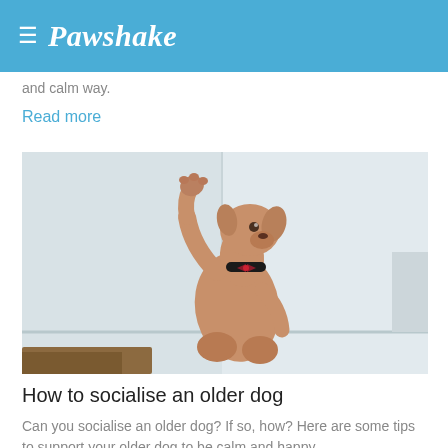≡ Pawshake
and calm way.
Read more
[Figure (photo): A thin tan/brown dog with a red bow tie collar sitting up and raising one paw high in the air, against a white wooden wall background.]
How to socialise an older dog
Can you socialise an older dog? If so, how? Here are some tips to support your older dog to be calm and happy